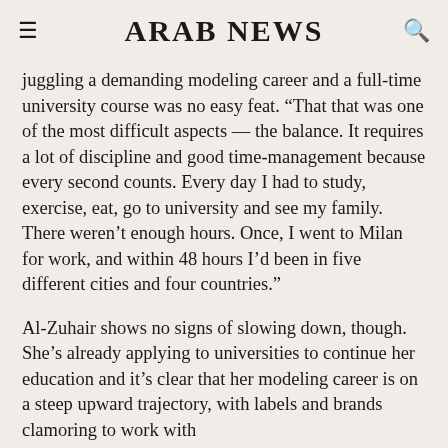ARAB NEWS
juggling a demanding modeling career and a full-time university course was no easy feat. “That that was one of the most difficult aspects — the balance. It requires a lot of discipline and good time-management because every second counts. Every day I had to study, exercise, eat, go to university and see my family. There weren’t enough hours. Once, I went to Milan for work, and within 48 hours I’d been in five different cities and four countries.”
Al-Zuhair shows no signs of slowing down, though. She’s already applying to universities to continue her education and it’s clear that her modeling career is on a steep upward trajectory, with labels and brands clamoring to work with